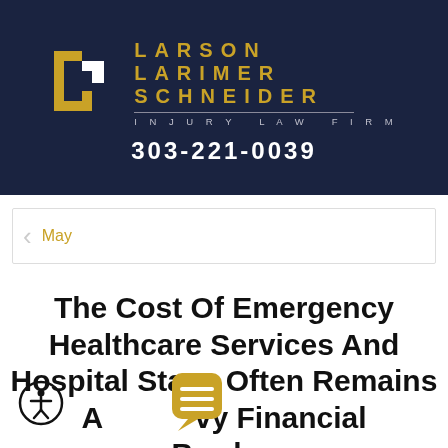[Figure (logo): Larson Larimer Schneider Injury Law Firm logo with golden L-shaped bracket mark on dark navy background, firm name in gold letters, and phone number 303-221-0039 in white]
May
The Cost Of Emergency Healthcare Services And Hospital Stays Often Remains A Heavy Financial Burden